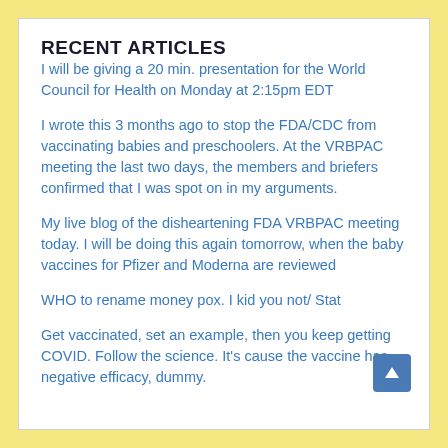RECENT ARTICLES
I will be giving a 20 min. presentation for the World Council for Health on Monday at 2:15pm EDT
I wrote this 3 months ago to stop the FDA/CDC from vaccinating babies and preschoolers. At the VRBPAC meeting the last two days, the members and briefers confirmed that I was spot on in my arguments.
My live blog of the disheartening FDA VRBPAC meeting today. I will be doing this again tomorrow, when the baby vaccines for Pfizer and Moderna are reviewed
WHO to rename money pox. I kid you not/ Stat
Get vaccinated, set an example, then you keep getting COVID. Follow the science. It's cause the vaccine has negative efficacy, dummy.